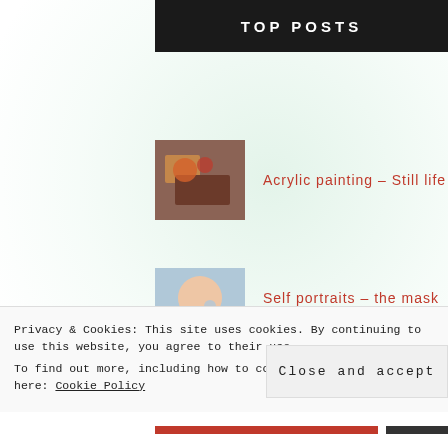TOP POSTS
Acrylic painting - Still life
Self portraits - the mask 2020
Watercolor painting - Summer Lily
Ink painting - Koi around 2
Ink studies - still life
Privacy & Cookies: This site uses cookies. By continuing to use this website, you agree to their use. To find out more, including how to control cookies, see here: Cookie Policy
Close and accept